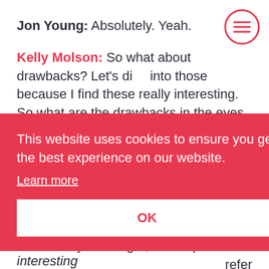Jon Young: Absolutely. Yeah.
Kelly Molson: So what about drawbacks? Let's dive into those because I find these really interesting. So what are the drawbacks in the eyes of the visitor?
Jon Young: Yeah. So as I mentioned earlier, three in 10 felt it was actually... They'd probably think twice and not visit and one in four saying it's a bad thing ...just ...prefer ...who ...who ...e had
[Figure (other): Hamburger menu icon (three horizontal lines in a circle), red/coral colored outline]
This website uses cookies to ensure you get the best experience on our website. Learn more OK